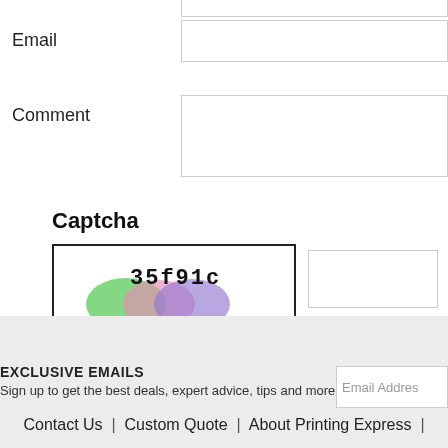Email
Comment
Captcha
[Figure (other): Captcha image showing text '35f91c' with colorful overlapping circles (green, pink, purple) in the background]
Submit
EXCLUSIVE EMAILS
Sign up to get the best deals, expert advice, tips and more!
Contact Us  |  Custom Quote  |  About Printing Express  |